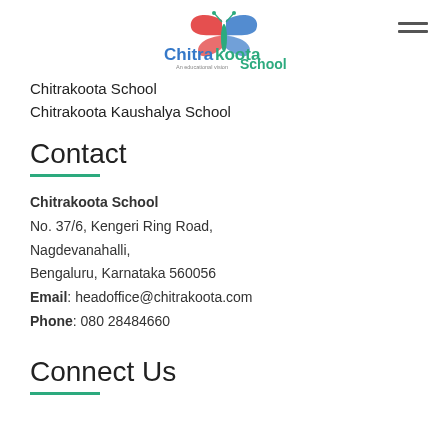[Figure (logo): Chitrakoota School logo with butterfly graphic and tagline 'An educational vision']
Chitrakoota School
Chitrakoota Kaushalya School
Contact
Chitrakoota School
No. 37/6, Kengeri Ring Road,
Nagdevanahalli,
Bengaluru, Karnataka 560056
Email: headoffice@chitrakoota.com
Phone: 080 28484660
Connect Us